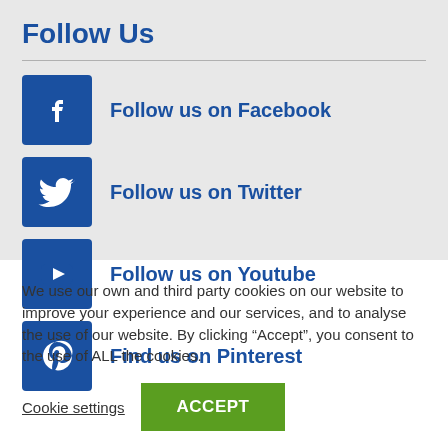Follow Us
Follow us on Facebook
Follow us on Twitter
Follow us on Youtube
Find us on Pinterest
We use our own and third party cookies on our website to improve your experience and our services, and to analyse the use of our website. By clicking “Accept”, you consent to the use of ALL the cookies.
Cookie settings  ACCEPT